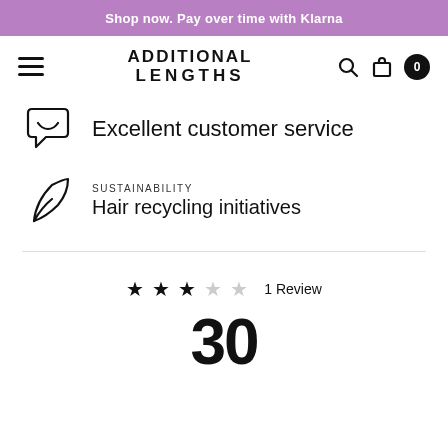Shop now. Pay over time with Klarna
[Figure (logo): Additional Lengths brand logo with hamburger menu, search icon, bag icon, and cart count 0]
Excellent customer service
SUSTAINABILITY
Hair recycling initiatives
★★★☆☆ 1 Review
30